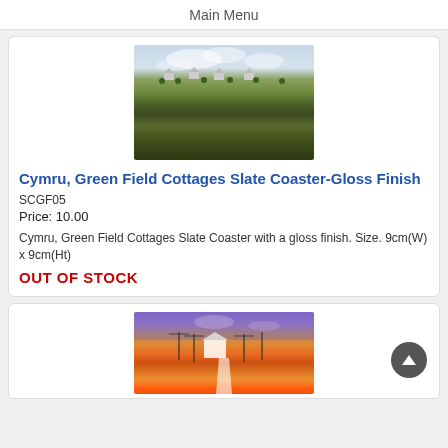Main Menu
[Figure (photo): Landscape painting of green fields with cottages, dark hedgerows, and cloudy sky]
Cymru, Green Field Cottages Slate Coaster-Gloss Finish
SCGF05
Price: 10.00
Cymru, Green Field Cottages Slate Coaster with a gloss finish. Size. 9cm(W) x 9cm(Ht)
OUT OF STOCK
[Figure (photo): Vibrant orange and purple landscape painting with white cottage and telegraph poles]